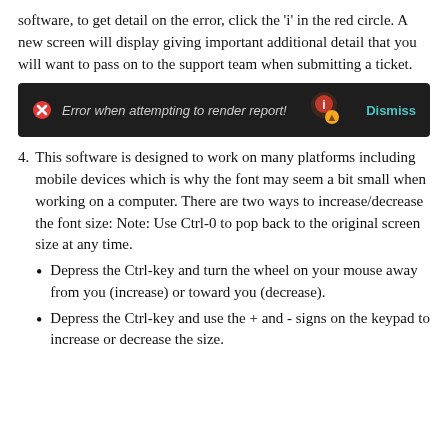software, to get detail on the error, click the 'i' in the red circle. A new screen will display giving important additional detail that you will want to pass on to the support team when submitting a ticket.
[Figure (screenshot): Dark UI notification bar showing 'Error when attempting to render report!' with a red X icon, an info button, a cursor, and a Dismiss link in teal.]
4. This software is designed to work on many platforms including mobile devices which is why the font may seem a bit small when working on a computer. There are two ways to increase/decrease the font size: Note: Use Ctrl-0 to pop back to the original screen size at any time.
Depress the Ctrl-key and turn the wheel on your mouse away from you (increase) or toward you (decrease).
Depress the Ctrl-key and use the + and - signs on the keypad to increase or decrease the size.